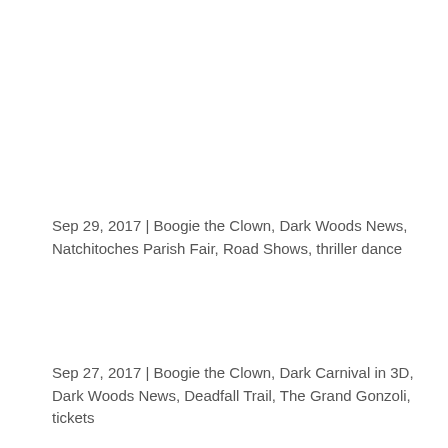Sep 29, 2017 | Boogie the Clown, Dark Woods News, Natchitoches Parish Fair, Road Shows, thriller dance
Sep 27, 2017 | Boogie the Clown, Dark Carnival in 3D, Dark Woods News, Deadfall Trail, The Grand Gonzoli, tickets